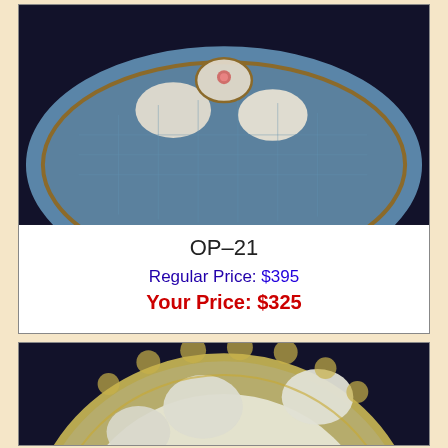[Figure (photo): Top portion of an oyster plate with blue and white design on dark background, showing partial view]
OP-21
Regular Price: $395
Your Price: $325
[Figure (photo): Round ceramic oyster plate with cream/yellow scalloped border and white oyster-shaped wells, photographed on dark background]